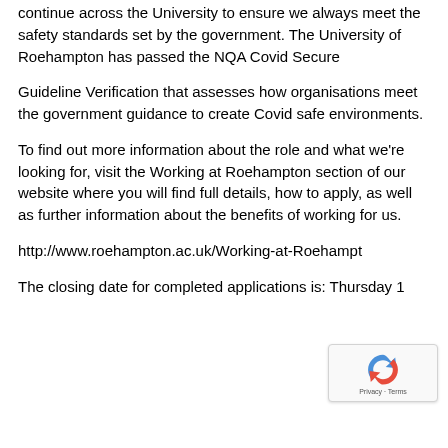continue across the University to ensure we always meet the safety standards set by the government. The University of Roehampton has passed the NQA Covid Secure
Guideline Verification that assesses how organisations meet the government guidance to create Covid safe environments.
To find out more information about the role and what we're looking for, visit the Working at Roehampton section of our website where you will find full details, how to apply, as well as further information about the benefits of working for us.
http://www.roehampton.ac.uk/Working-at-Roehampton
The closing date for completed applications is: Thursday 1